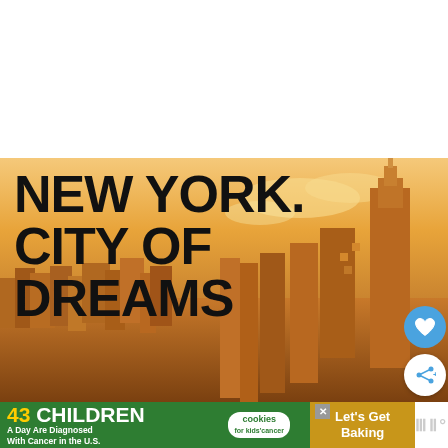[Figure (photo): New York City skyline at golden sunset with Empire State Building on the right. Large bold text overlay reads 'NEW YORK. CITY OF DREAMS'. Two circular buttons visible on the right edge: a blue heart button and a white share button.]
[Figure (infographic): Advertisement banner: green left section with '43 CHILDREN A Day Are Diagnosed With Cancer in the U.S.', center cookies for kids cancer logo, right gold section 'Let's Get Baking', far right white section with muted icon logo.]